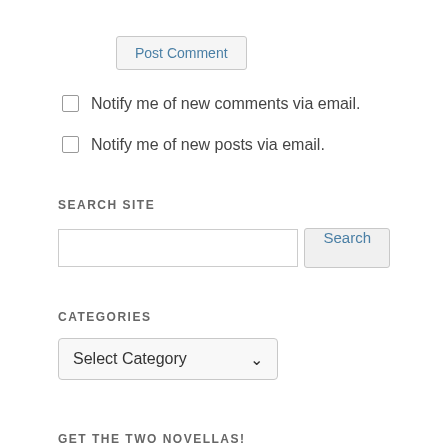Post Comment
Notify me of new comments via email.
Notify me of new posts via email.
SEARCH SITE
Search
CATEGORIES
Select Category
GET THE TWO NOVELLAS!